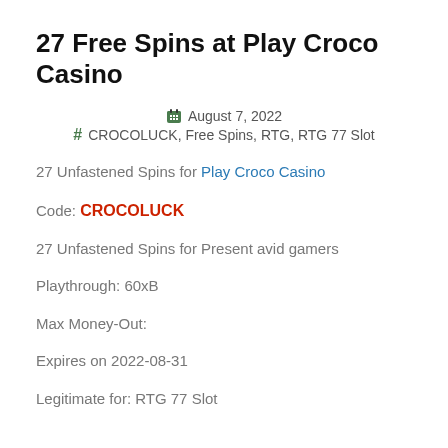27 Free Spins at Play Croco Casino
August 7, 2022
# CROCOLUCK, Free Spins, RTG, RTG 77 Slot
27 Unfastened Spins for Play Croco Casino
Code: CROCOLUCK
27 Unfastened Spins for Present avid gamers
Playthrough: 60xB
Max Money-Out:
Expires on 2022-08-31
Legitimate for: RTG 77 Slot